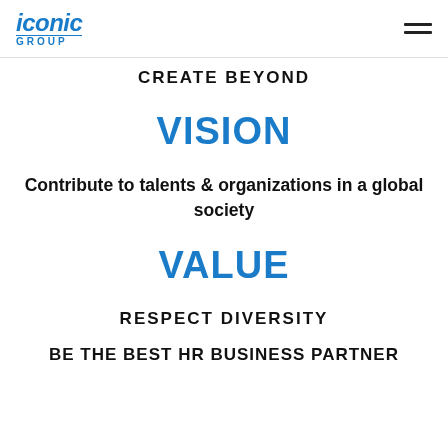iconic GROUP
CREATE BEYOND
VISION
Contribute to talents & organizations in a global society
VALUE
RESPECT DIVERSITY
BE THE BEST HR BUSINESS PARTNER